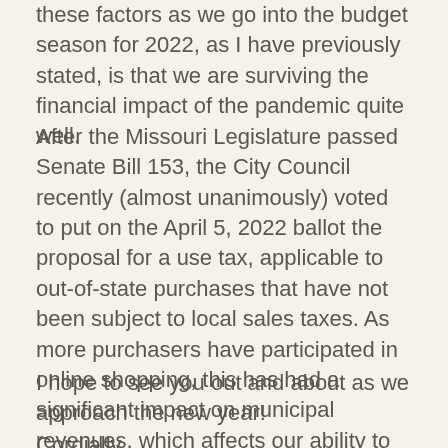these factors as we go into the budget season for 2022, as I have previously stated, is that we are surviving the financial impact of the pandemic quite well.
After the Missouri Legislature passed Senate Bill 153, the City Council recently (almost unanimously) voted to put on the April 5, 2022 ballot the proposal for a use tax, applicable to out-of-state purchases that have not been subject to local sales taxes. As more purchasers have participated in online shopping, this has had a significant impact on municipal revenues, which affects our ability to provide a high level of services to our residents and businesses. If this measure passes, it will tend to level the playing field for our local brick and mortar establishments as well as restore revenues that previously existed before online shopping became so prevalent.
I hope to see you out and about as we approach the new year!
Cordially,